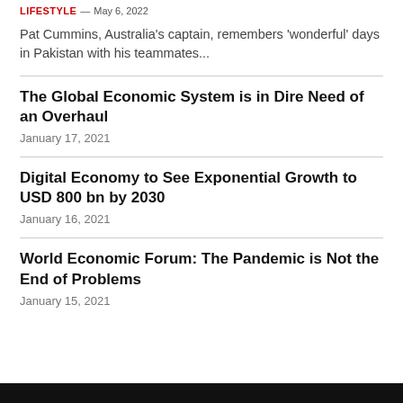LIFESTYLE — May 6, 2022
Pat Cummins, Australia's captain, remembers 'wonderful' days in Pakistan with his teammates...
The Global Economic System is in Dire Need of an Overhaul
January 17, 2021
Digital Economy to See Exponential Growth to USD 800 bn by 2030
January 16, 2021
World Economic Forum: The Pandemic is Not the End of Problems
January 15, 2021